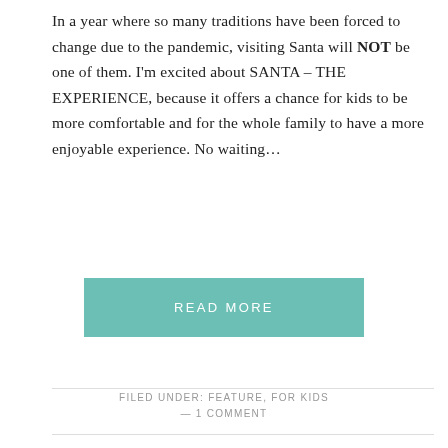In a year where so many traditions have been forced to change due to the pandemic, visiting Santa will NOT be one of them. I'm excited about SANTA – THE EXPERIENCE, because it offers a chance for kids to be more comfortable and for the whole family to have a more enjoyable experience. No waiting...
READ MORE
FILED UNDER: FEATURE, FOR KIDS
— 1 COMMENT
FAMILY MOVIE NIGHT | JINGLE JANGLE: A CHRISTMAS JOURNEY
NOVEMBER 11, 2020